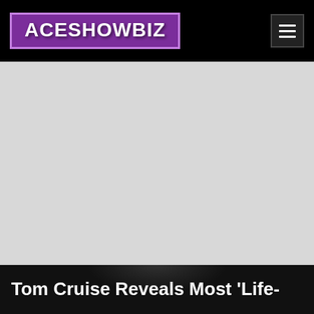ACESHOWBIZ
[Figure (photo): Large light gray image placeholder area below the navigation bar]
Tom Cruise Reveals Most 'Life-